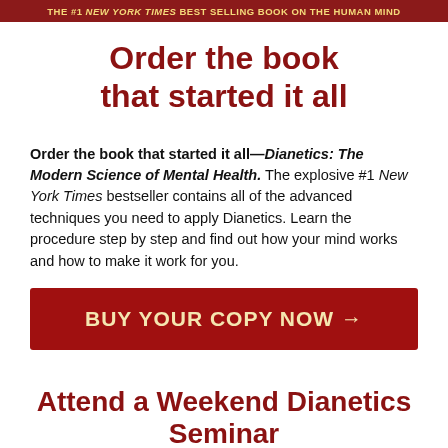THE #1 NEW YORK TIMES BEST SELLING BOOK ON THE HUMAN MIND
Order the book that started it all
Order the book that started it all—Dianetics: The Modern Science of Mental Health. The explosive #1 New York Times bestseller contains all of the advanced techniques you need to apply Dianetics. Learn the procedure step by step and find out how your mind works and how to make it work for you.
[Figure (other): Red button with text BUY YOUR COPY NOW →]
Attend a Weekend Dianetics Seminar